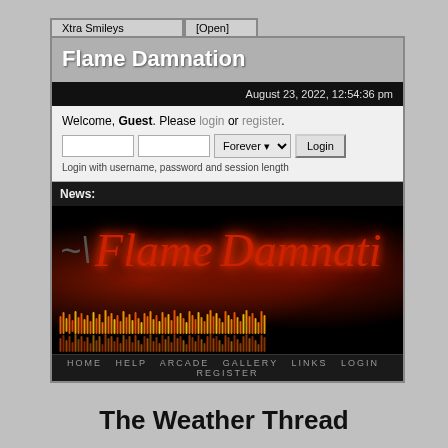Xtra Smileys | [Open]
Flame Damnation
August 23, 2022, 12:54:36 pm
Welcome, Guest. Please login or register.
Login with username, password and session length
News:
[Figure (illustration): Flame Damnation forum website screenshot showing dark themed banner with stylized red flame text reading 'Flame Damnation', fire bar animation at bottom, and navigation links HOME HELP ARCADE GALLERY LINKS LOGIN REGISTER]
HOME  HELP  ARCADE  GALLERY  LINKS  LOGIN  REGISTER
The Weather Thread